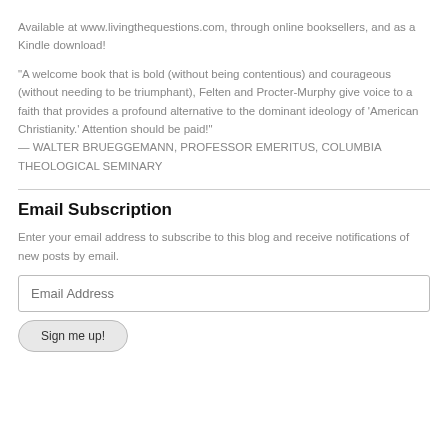Available at www.livingthequestions.com, through online booksellers, and as a Kindle download!
“A welcome book that is bold (without being contentious) and courageous (without needing to be triumphant), Felten and Procter-Murphy give voice to a faith that provides a profound alternative to the dominant ideology of ‘American Christianity.’ Attention should be paid!” — WALTER BRUEGGEMANN, PROFESSOR EMERITUS, COLUMBIA THEOLOGICAL SEMINARY
Email Subscription
Enter your email address to subscribe to this blog and receive notifications of new posts by email.